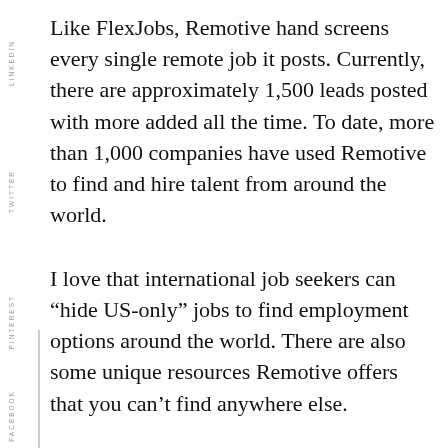Like FlexJobs, Remotive hand screens every single remote job it posts. Currently, there are approximately 1,500 leads posted with more added all the time. To date, more than 1,000 companies have used Remotive to find and hire talent from around the world.
I love that international job seekers can "hide US-only" jobs to find employment options around the world. There are also some unique resources Remotive offers that you can't find anywhere else.
Remotive Resources & Webinar
It's free to search for and apply to jobs on